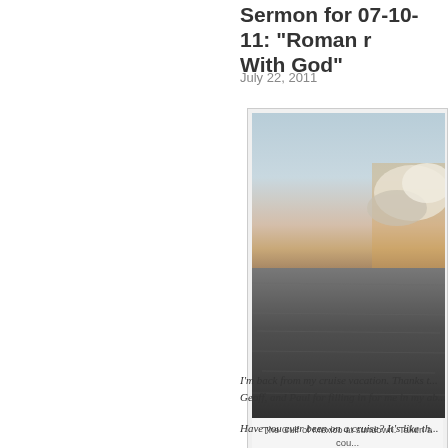Sermon for 07-10-11: "Roman ... With God"
July 22, 2011
[Figure (photo): Ocean photo: The Gulf of Mexico at sundown, taken from the deck of a cruise ship. Calm water with clouds on the horizon against a warm sky.]
The Gulf of Mexico at sundown. Taken a cou... deck of the cruise ship...
I'm back from my cruise vacation. Thanks t... Geoff, and Paul for filling in for me in my ab...
Have you ever been on a cruise? It's like th...